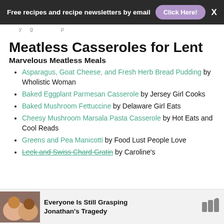Free recipes and recipe newsletters by email  Click Here!  X
Meatless Casseroles for Lent
Marvelous Meatless Meals
Asparagus, Goat Cheese, and Fresh Herb Bread Pudding by Wholistic Woman
Baked Eggplant Parmesan Casserole by Jersey Girl Cooks
Baked Mushroom Fettuccine by Delaware Girl Eats
Cheesy Mushroom Marsala Pasta Casserole by Hot Eats and Cool Reads
Greens and Pea Manicotti by Food Lust People Love
Leek and Swiss Chard Gratin by Caroline's
Everyone Is Still Grasping Jonathan's Tragedy